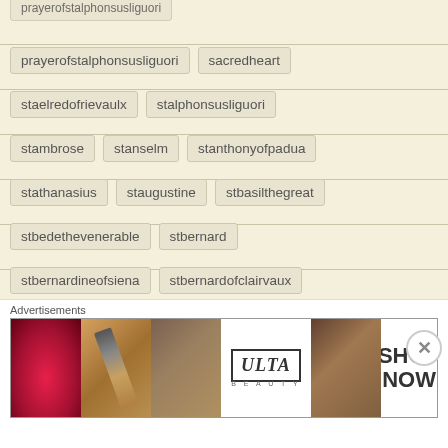prayerofstalphonsusliguori
sacredheart
staelredofrievaulx
stalphonsusliguori
stambrose
stanselm
stanthonyofpadua
stathanasius
staugustine
stbasilthegreat
stbedethevenerable
stbernard
stbernardineofsiena
stbernardofclairvaux
stbonaventure
stcaesariusofarles
stcatherineofsiena
stclaudedelacolombieresj
Advertisements